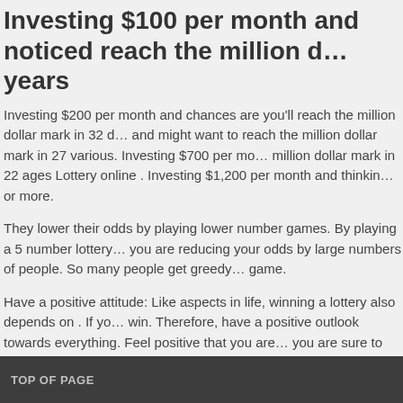Investing $100 per month and noticed reach the million d... years
Investing $200 per month and chances are you'll reach the million dollar mark in 32 d... and might want to reach the million dollar mark in 27 various. Investing $700 per mo... million dollar mark in 22 ages Lottery online . Investing $1,200 per month and thinkin... or more.
They lower their odds by playing lower number games. By playing a 5 number lottery... you are reducing your odds by large numbers of people. So many people get greedy... game.
Have a positive attitude: Like aspects in life, winning a lottery also depends on . If yo... win. Therefore, have a positive outlook towards everything. Feel positive that you are... you are sure to utilise your lottery prize money. From embarrassment would fill the m... energies which would ultimately guide you in selecting the right lottery numbers, thus...
FILED UNDER: CASINO
TOP OF PAGE